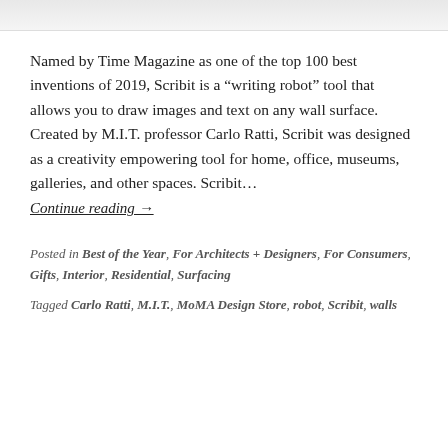[Figure (photo): Partial view of an image at the top of the page, appears to show a drawing or sketch.]
Named by Time Magazine as one of the top 100 best inventions of 2019, Scribit is a "writing robot" tool that allows you to draw images and text on any wall surface. Created by M.I.T. professor Carlo Ratti, Scribit was designed as a creativity empowering tool for home, office, museums, galleries, and other spaces. Scribit… Continue reading →
Posted in Best of the Year, For Architects + Designers, For Consumers, Gifts, Interior, Residential, Surfacing
Tagged Carlo Ratti, M.I.T., MoMA Design Store, robot, Scribit, walls